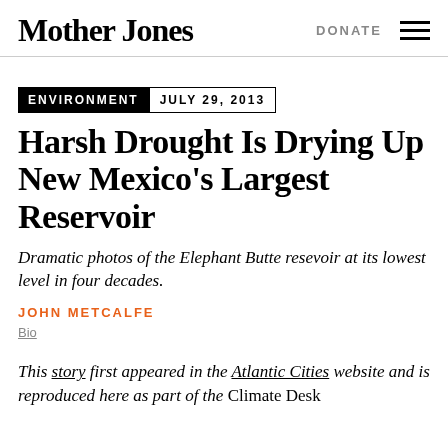Mother Jones | DONATE
ENVIRONMENT  JULY 29, 2013
Harsh Drought Is Drying Up New Mexico's Largest Reservoir
Dramatic photos of the Elephant Butte resevoir at its lowest level in four decades.
JOHN METCALFE
Bio
This story first appeared in the Atlantic Cities website and is reproduced here as part of the Climate Desk collaboration.